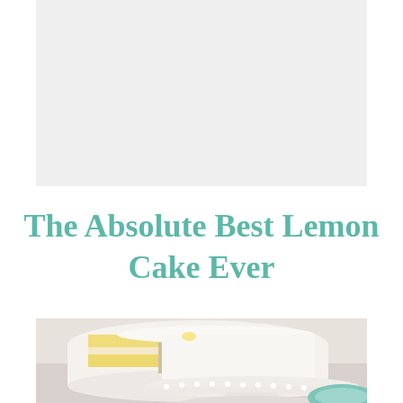[Figure (photo): Light gray/white background area at top of page, appears to be a plain backdrop]
The Absolute Best Lemon Cake Ever
[Figure (photo): Close-up photo of a white frosted lemon layer cake on a white cake stand, with a slice removed showing yellow lemon cake layers and cream filling inside. A teal/mint colored plate is visible in the lower right corner. The cake has decorative white pearl/dot details on the stand.]